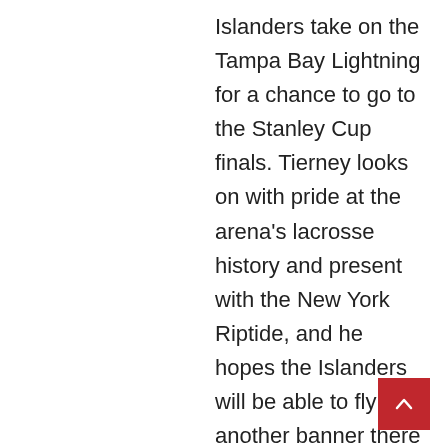Islanders take on the Tampa Bay Lightning for a chance to go to the Stanley Cup finals. Tierney looks on with pride at the arena’s lacrosse history and present with the New York Riptide, and he hopes the Islanders will be able to fly another banner there — even though it will be in a gleaming new building just up the road at Belmont Park — in the future. “It’s like Armageddon in your imagination when you see 12,000 people rushing out of a building, yelling ‘New York Saints,’ with people wearing T-shirts and jerseys and stuff like that,” he added. “You just